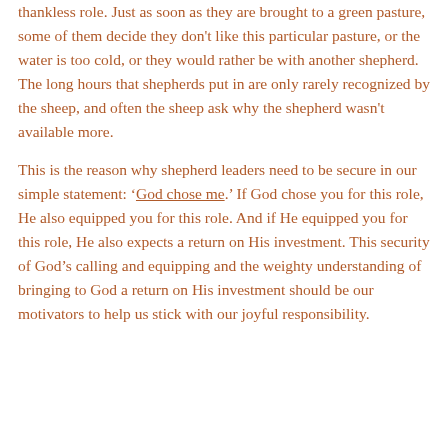thankless role. Just as soon as they are brought to a green pasture, some of them decide they don't like this particular pasture, or the water is too cold, or they would rather be with another shepherd. The long hours that shepherds put in are only rarely recognized by the sheep, and often the sheep ask why the shepherd wasn't available more.
This is the reason why shepherd leaders need to be secure in our simple statement: 'God chose me.' If God chose you for this role, He also equipped you for this role. And if He equipped you for this role, He also expects a return on His investment. This security of God's calling and equipping and the weighty understanding of bringing to God a return on His investment should be our motivators to help us stick with our joyful responsibility.